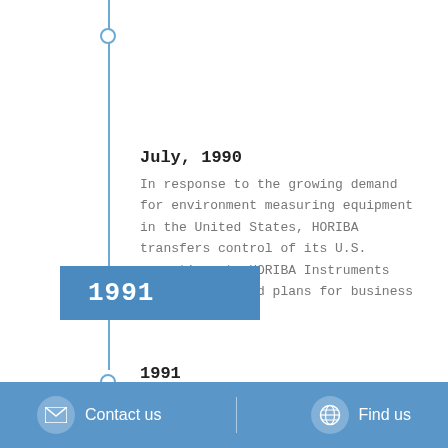July, 1990
In response to the growing demand for environment measuring equipment in the United States, HORIBA transfers control of its U.S. operations to HORIBA Instruments Incorporated and plans for business
1991
1991
Crystal factory is completed in Arizona, USA.
Contact us   Find us